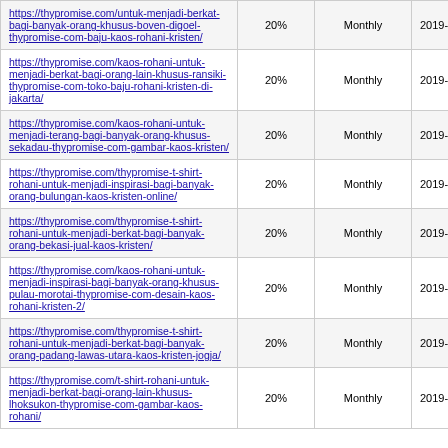| https://thypromise.com/untuk-menjadi-berkat-bagi-banyak-orang-khusus-boven-digoel-thypromise-com-baju-kaos-rohani-kristen/ | 20% | Monthly | 2019-09-26 17:38 |
| https://thypromise.com/kaos-rohani-untuk-menjadi-berkat-bagi-orang-lain-khusus-ransiki-thypromise-com-toko-baju-rohani-kristen-di-jakarta/ | 20% | Monthly | 2019-09-26 17:27 |
| https://thypromise.com/kaos-rohani-untuk-menjadi-terang-bagi-banyak-orang-khusus-sekadau-thypromise-com-gambar-kaos-kristen/ | 20% | Monthly | 2019-09-26 17:15 |
| https://thypromise.com/thypromise-t-shirt-rohani-untuk-menjadi-inspirasi-bagi-banyak-orang-bulungan-kaos-kristen-online/ | 20% | Monthly | 2019-09-26 17:08 |
| https://thypromise.com/thypromise-t-shirt-rohani-untuk-menjadi-berkat-bagi-banyak-orang-bekasi-jual-kaos-kristen/ | 20% | Monthly | 2019-09-26 17:07 |
| https://thypromise.com/kaos-rohani-untuk-menjadi-inspirasi-bagi-banyak-orang-khusus-pulau-morotai-thypromise-com-desain-kaos-rohani-kristen-2/ | 20% | Monthly | 2019-09-26 17:00 |
| https://thypromise.com/thypromise-t-shirt-rohani-untuk-menjadi-berkat-bagi-banyak-orang-padang-lawas-utara-kaos-kristen-jogja/ | 20% | Monthly | 2019-09-26 16:50 |
| https://thypromise.com/t-shirt-rohani-untuk-menjadi-berkat-bagi-orang-lain-khusus-lhoksukon-thypromise-com-gambar-kaos-rohani/ | 20% | Monthly | 2019-09-26 16:25 |